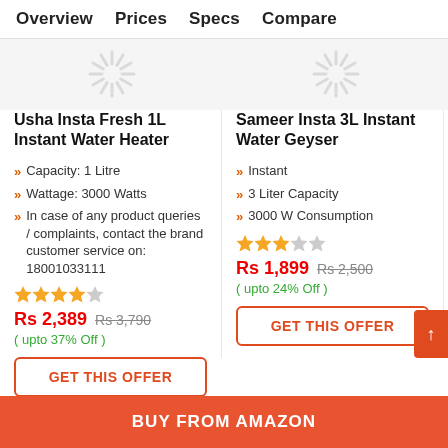Overview  Prices  Specs  Compare
[Figure (other): Loading spinner icons shown as gray starburst/spinner graphics in a light gray bar]
Usha Insta Fresh 1L Instant Water Heater
Capacity: 1 Litre
Wattage: 3000 Watts
In case of any product queries / complaints, contact the brand customer service on: 18001033111
★★★★☆ (4 stars)
Rs 2,389  Rs 3,790  ( upto 37% Off )
GET THIS OFFER
Sameer Insta 3L Instant Water Geyser
Instant
3 Liter Capacity
3000 W Consumption
★★★☆☆ (3 stars)
Rs 1,899  Rs 2,500  ( upto 24% Off )
GET THIS OFFER
BUY FROM AMAZON